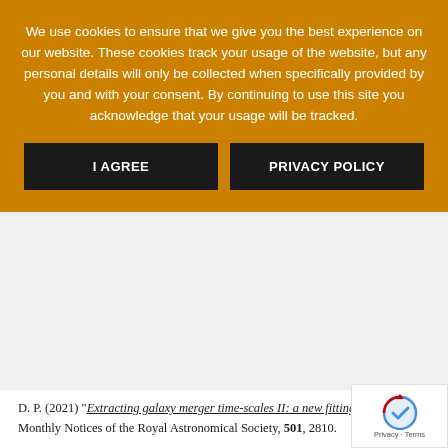We use cookies to ensure that we give you the best experience on our website. These cookies track your usage of the website, but any personal details will only be collected when specifically provided by you and with your consent. By continuing to use this site you acknowledge that your usage will be tracked.
I AGREE | PRIVACY POLICY
D. P. (2021) “Extracting galaxy merger time-scales II: a new fitting formula”, Monthly Notices of the Royal Astronomical Society, 501, 2810.
Prabu, S., Hancock, P., Zhang, X., Tingay, S. J. (2020) “A low-frequency blind survey of the low Earth orbit environment using non-coherent passive radar with the Murchison widefield array”, Publications of the Astronomical Society of Australia, 37, e052.
Pratley, L., Johnston-Hollitt, M., McEwen, J. D. (2020) “w-Stacking w-projection hybrid algorithm for wide-field interferometric imaging: implementation details and improvements”, Publications